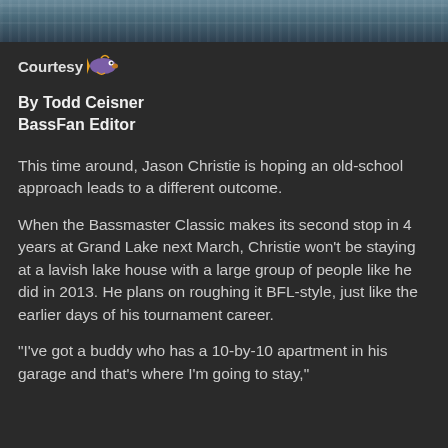[Figure (photo): Water/lake surface photo strip at top of page]
Courtesy [fish logo icon]
By Todd Ceisner
BassFan Editor
This time around, Jason Christie is hoping an old-school approach leads to a different outcome.
When the Bassmaster Classic makes its second stop in 4 years at Grand Lake next March, Christie won't be staying at a lavish lake house with a large group of people like he did in 2013. He plans on roughing it BFL-style, just like the earlier days of his tournament career.
“I’ve got a buddy who has a 10-by-10 apartment in his garage and that’s where I’m going to stay,”